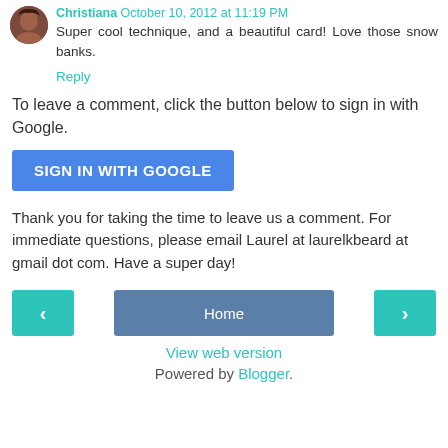Christiana October 10, 2012 at 11:19 PM
Super cool technique, and a beautiful card! Love those snow banks.
Reply
To leave a comment, click the button below to sign in with Google.
SIGN IN WITH GOOGLE
Thank you for taking the time to leave us a comment. For immediate questions, please email Laurel at laurelkbeard at gmail dot com. Have a super day!
‹
Home
›
View web version
Powered by Blogger.